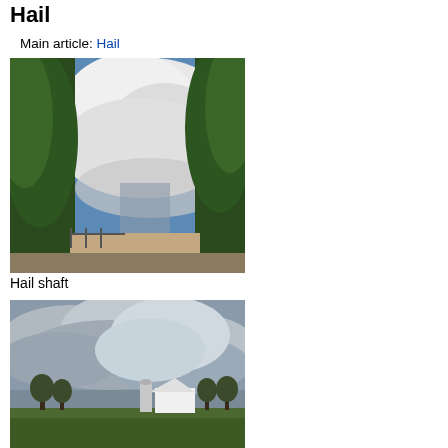Hail
Main article: Hail
[Figure (photo): Hail shaft — a large cumulonimbus cloud visible between trees with a building in the foreground]
Hail shaft
[Figure (photo): Storm clouds over a rural farm scene with a white barn and silo]